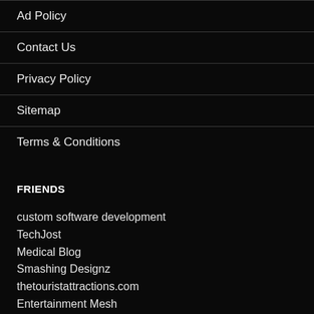Ad Policy
Contact Us
Privacy Policy
Sitemap
Terms & Conditions
FRIENDS
custom software development
TechJost
Medical Blog
Smashing Designz
thetouristattractions.com
Entertainment Mesh
Inspiring Mesh
Sizzly Design
Glamophobia